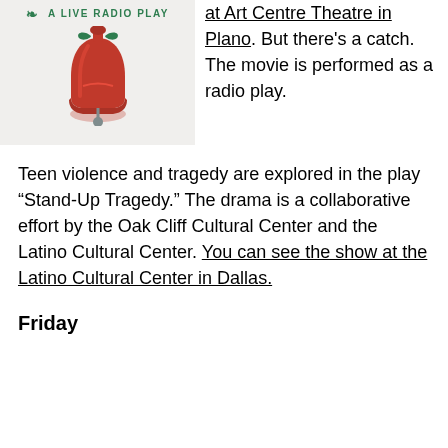[Figure (illustration): A live radio play promotional image with a red bell illustration and green decorative elements, with text 'A LIVE RADIO PLAY' in green letters.]
at Art Centre Theatre in Plano. But there's a catch. The movie is performed as a radio play.
Teen violence and tragedy are explored in the play “Stand-Up Tragedy.” The drama is a collaborative effort by the Oak Cliff Cultural Center and the Latino Cultural Center. You can see the show at the Latino Cultural Center in Dallas.
Friday